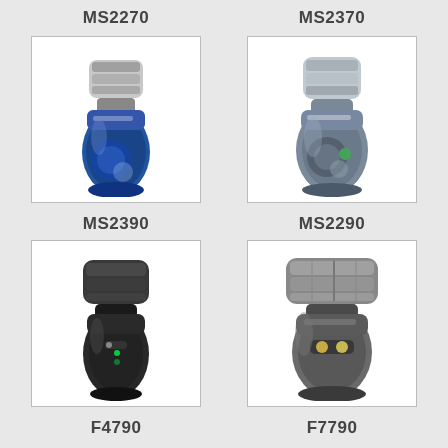MS2270
MS2370
[Figure (photo): Blue/silver electric shaver model MS2390]
[Figure (photo): Gray/silver electric shaver model MS2290]
MS2390
MS2290
[Figure (photo): Black electric shaver model F4790]
[Figure (photo): Silver/black electric shaver model F7790]
F4790
F7790